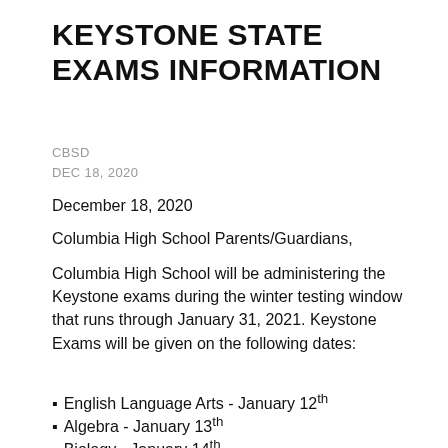KEYSTONE STATE EXAMS INFORMATION
CBSD
DEC 18, 2020
December 18, 2020
Columbia High School Parents/Guardians,
Columbia High School will be administering the Keystone exams during the winter testing window that runs through January 31, 2021. Keystone Exams will be given on the following dates:
English Language Arts - January 12th
Algebra - January 13th
Biology - January 14th